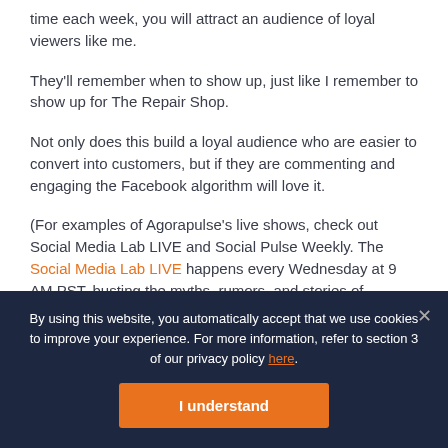time each week, you will attract an audience of loyal viewers like me.
They'll remember when to show up, just like I remember to show up for The Repair Shop.
Not only does this build a loyal audience who are easier to convert into customers, but if they are commenting and engaging the Facebook algorithm will love it.
(For examples of Agorapulse's live shows, check out Social Media Lab LIVE and Social Pulse Weekly. The Social Media Lab LIVE happens every Wednesday at 9 AM PST, busting the myths, rumors, and stories of
By using this website, you automatically accept that we use cookies to improve your experience. For more information, refer to section 3 of our privacy policy here.